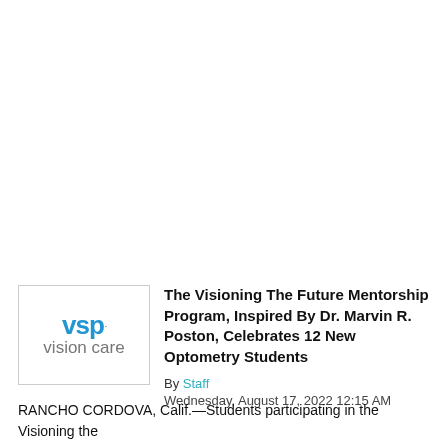[Figure (logo): VSP Vision Care logo — blue 'vsp.' text above gray 'vision care' text, inside a light gray bordered box]
The Visioning The Future Mentorship Program, Inspired By Dr. Marvin R. Poston, Celebrates 12 New Optometry Students
By Staff
Wednesday, August 17, 2022 12:15 AM
RANCHO CORDOVA, Calif.—Students participating in the Visioning the